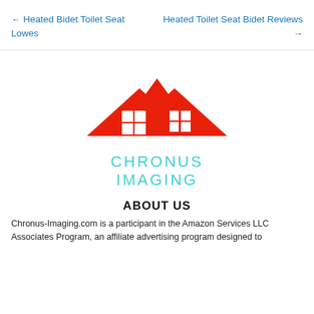← Heated Bidet Toilet Seat Lowes
Heated Toilet Seat Bidet Reviews →
[Figure (logo): Chronus Imaging logo: red house roof with two windows, teal text CHRONUS IMAGING below]
ABOUT US
Chronus-Imaging.com is a participant in the Amazon Services LLC Associates Program, an affiliate advertising program designed to